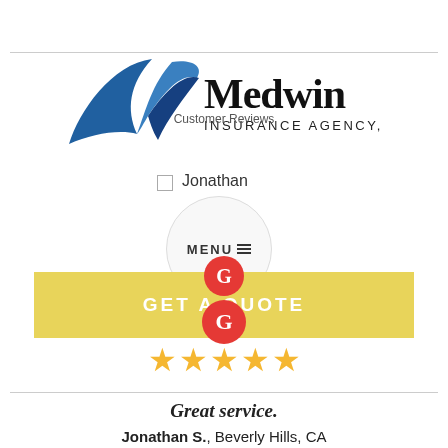[Figure (logo): Medwin Insurance Agency, Inc. logo with blue swoosh graphic and text overlaid with Customer Reviews heading]
Customer Reviews
[Figure (illustration): Jonathan user avatar circle with MENU text and hamburger icon overlay]
[Figure (illustration): GET A QUOTE yellow button bar with Google G red circle icon]
[Figure (illustration): Five gold star rating]
Great service.
Jonathan S., Beverly Hills, CA